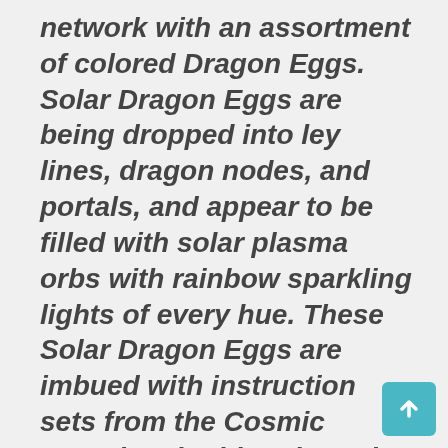network with an assortment of colored Dragon Eggs. Solar Dragon Eggs are being dropped into ley lines, dragon nodes, and portals, and appear to be filled with solar plasma orbs with rainbow sparkling lights of every hue. These Solar Dragon Eggs are imbued with instruction sets from the Cosmic Founders igniting the Solar Dragon lightbody parts which further activate the Inner and Outer Christ potentials within and humanity. The series of Gothic Krystal Cathedral activations that